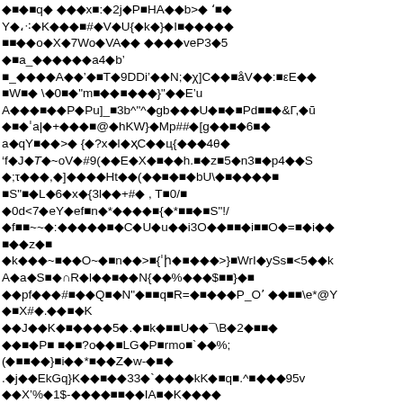Garbled/encoded text content with diamond replacement characters throughout the page, representing corrupted or unrecognized character data.